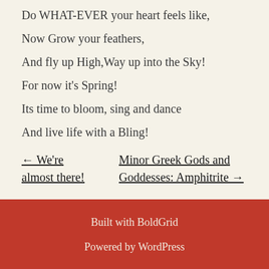Do WHAT-EVER your heart feels like,
Now Grow your feathers,
And fly up High,Way up into the Sky!
For now it's Spring!
Its time to bloom, sing and dance
And live life with a Bling!
← We're almost there!
Minor Greek Gods and Goddesses: Amphitrite →
Built with BoldGrid

Powered by WordPress